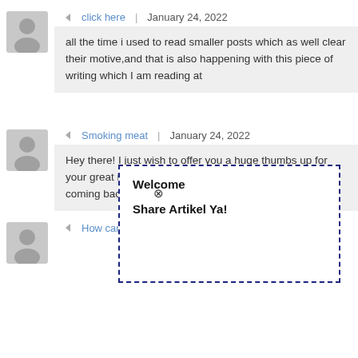click here | January 24, 2022
all the time i used to read smaller posts which as well clear their motive,and that is also happening with this piece of writing which I am reading at
[Figure (screenshot): Dashed border popup overlay with text 'Welcome' and 'Share Artikel Ya!']
Smoking meat | January 24, 2022
Hey there! I just wish to offer you a huge thumbs up for your great info you have right here on this post.I'll be coming back to your blog for more soon.
How can I create NFT | January 25, 2022